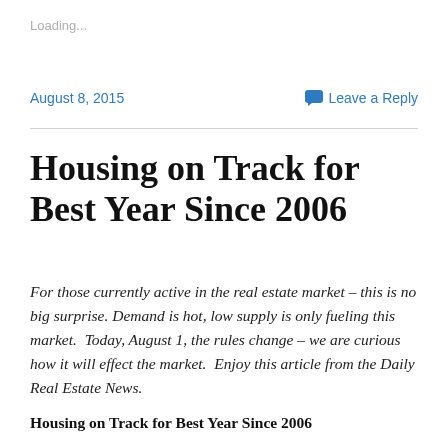Loading...
August 8, 2015
Leave a Reply
Housing on Track for Best Year Since 2006
For those currently active in the real estate market – this is no big surprise. Demand is hot, low supply is only fueling this market.  Today, August 1, the rules change – we are curious how it will effect the market.  Enjoy this article from the Daily Real Estate News.
Housing on Track for Best Year Since 2006